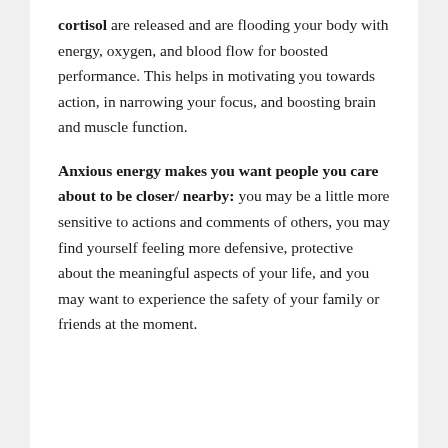cortisol are released and are flooding your body with energy, oxygen, and blood flow for boosted performance. This helps in motivating you towards action, in narrowing your focus, and boosting brain and muscle function.
Anxious energy makes you want people you care about to be closer/ nearby: you may be a little more sensitive to actions and comments of others, you may find yourself feeling more defensive, protective about the meaningful aspects of your life, and you may want to experience the safety of your family or friends at the moment.